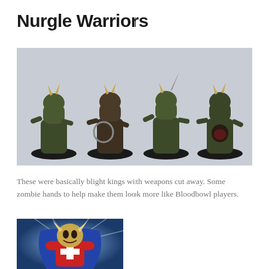Nurgle Warriors
[Figure (photo): Four Nurgle Warriors miniatures (blight kings with weapons cut away, zombie hands added) painted in dark green and brown, standing on black oval bases against a light grey background]
These were basically blight kings with weapons cut away. Some zombie hands to help make them look more like Bloodbowl players.
[Figure (photo): Bloodbowl player artwork or miniature with horns, blue cape, and red armor with a cross symbol, against a blue radial background]